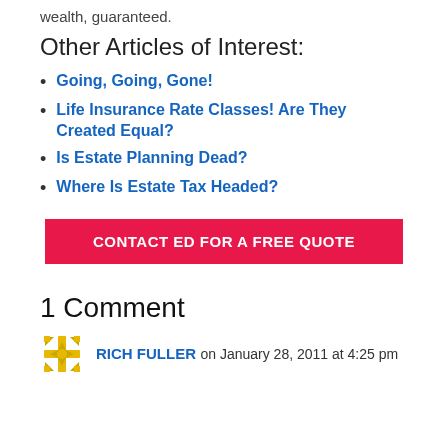wealth, guaranteed.
Other Articles of Interest:
Going, Going, Gone!
Life Insurance Rate Classes! Are They Created Equal?
Is Estate Planning Dead?
Where Is Estate Tax Headed?
[Figure (other): Red CTA button: CONTACT ED FOR A FREE QUOTE]
1 Comment
RICH FULLER on January 28, 2011 at 4:25 pm